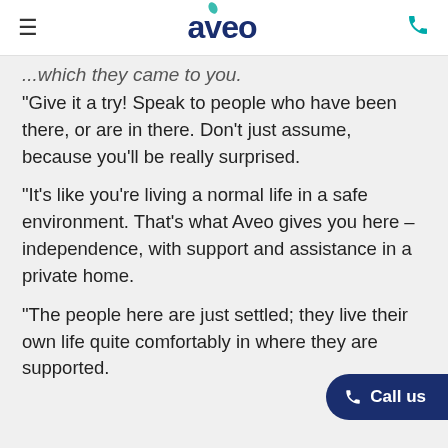aveo
...which they came to you.
“Give it a try! Speak to people who have been there, or are in there. Don’t just assume, because you’ll be really surprised.
“It’s like you’re living a normal life in a safe environment. That’s what Aveo gives you here – independence, with support and assistance in a private home.
“The people here are just settled; they live their own life quite comfortably in where they are supported.